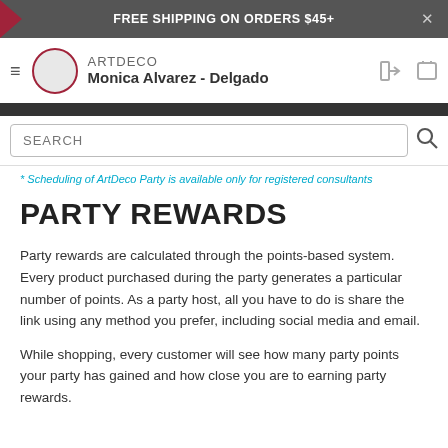FREE SHIPPING ON ORDERS $45+
ARTDECO Monica Alvarez - Delgado
SEARCH
* Scheduling of ArtDeco Party is available only for registered consultants
PARTY REWARDS
Party rewards are calculated through the points-based system. Every product purchased during the party generates a particular number of points. As a party host, all you have to do is share the link using any method you prefer, including social media and email.
While shopping, every customer will see how many party points your party has gained and how close you are to earning party rewards.